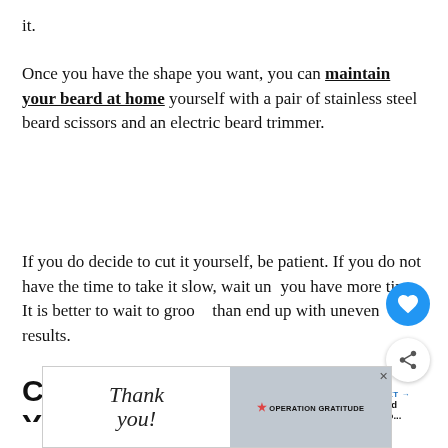it.
Once you have the shape you want, you can maintain your beard at home yourself with a pair of stainless steel beard scissors and an electric beard trimmer.
If you do decide to cut it yourself, be patient. If you do not have the time to take it slow, wait until you have more time. It is better to wait to groom than end up with uneven results.
Combing and Brushing Your
[Figure (screenshot): Advertisement banner with 'Thank you!' handwritten text and Operation Gratitude logo with fire fighters photo]
[Figure (other): Floating heart (favorite) button in blue circle]
[Figure (other): Floating share button in white circle with shadow]
[Figure (other): What's Next widget showing '8 Best Beard Trimmers fo...' with small thumbnail image]